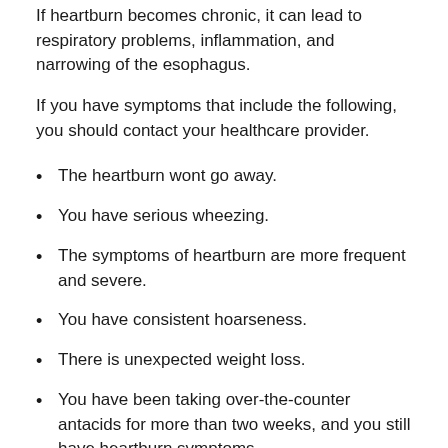If heartburn becomes chronic, it can lead to respiratory problems, inflammation, and narrowing of the esophagus.
If you have symptoms that include the following, you should contact your healthcare provider.
The heartburn wont go away.
You have serious wheezing.
The symptoms of heartburn are more frequent and severe.
You have consistent hoarseness.
There is unexpected weight loss.
You have been taking over-the-counter antacids for more than two weeks, and you still have heartburn symptoms.
Vomiting occurs because of heartburn.